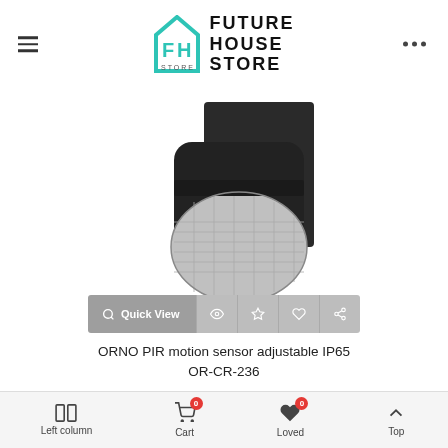Future House Store
[Figure (photo): ORNO PIR motion sensor adjustable IP65 OR-CR-236 — black wall-mounted PIR motion detector with silver Fresnel lens, shown against white background]
Quick View
ORNO PIR motion sensor adjustable IP65 OR-CR-236
£10.80  0 (AT incl.)
Left column  Cart 0  Loved 0  Top